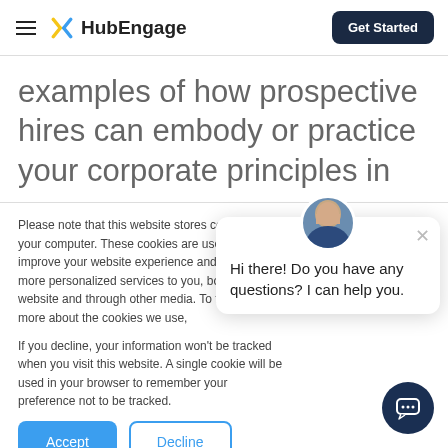HubEngage — Get Started
examples of how prospective hires can embody or practice your corporate principles in
Please note that this website stores cookies on your computer. These cookies are used to improve your website experience and provide more personalized services to you, both on this website and through other media. To find out more about the cookies we use,
If you decline, your information won't be tracked when you visit this website. A single cookie will be used in your browser to remember your preference not to be tracked.
Hi there! Do you have any questions? I can help you.